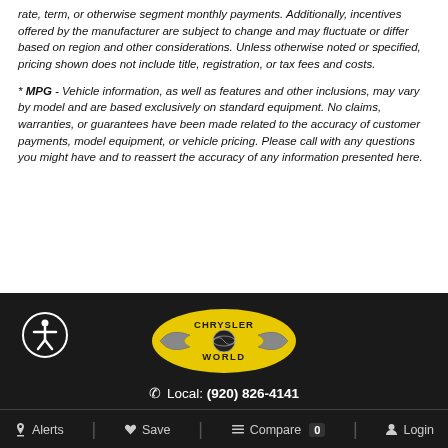rate, term, or otherwise segment monthly payments. Additionally, incentives offered by the manufacturer are subject to change and may fluctuate or differ based on region and other considerations. Unless otherwise noted or specified, pricing shown does not include title, registration, or tax fees and costs.
* MPG - Vehicle information, as well as features and other inclusions, may vary by model and are based exclusively on standard equipment. No claims, warranties, or guarantees have been made related to the accuracy of customer payments, model equipment, or vehicle pricing. Please call with any questions you might have and to reassert the accuracy of any information presented here.
[Figure (logo): Chrysler World dealership logo - yellow oval with wings and globe, black text]
Local: (920) 826-4141
Alerts   Save   Compare 0   Login